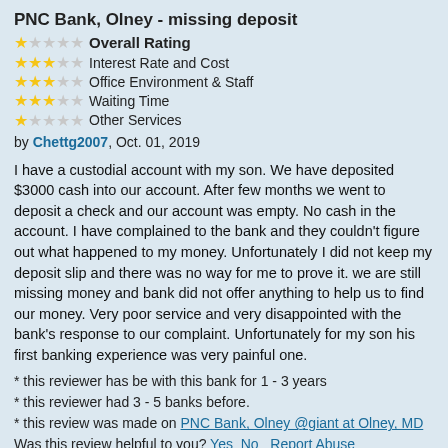PNC Bank, Olney - missing deposit
⭐ Overall Rating (1 star)
⭐⭐⭐ Interest Rate and Cost (3 stars)
⭐⭐⭐ Office Environment & Staff (3 stars)
⭐⭐⭐ Waiting Time (3 stars)
⭐ Other Services (1 star)
by Chettg2007, Oct. 01, 2019
I have a custodial account with my son. We have deposited $3000 cash into our account. After few months we went to deposit a check and our account was empty. No cash in the account. I have complained to the bank and they couldn't figure out what happened to my money. Unfortunately I did not keep my deposit slip and there was no way for me to prove it. we are still missing money and bank did not offer anything to help us to find our money. Very poor service and very disappointed with the bank's response to our complaint. Unfortunately for my son his first banking experience was very painful one.
* this reviewer has be with this bank for 1 - 3 years
* this reviewer had 3 - 5 banks before.
* this review was made on PNC Bank, Olney @giant at Olney, MD
Was this review helpful to you? Yes  No   Report Abuse